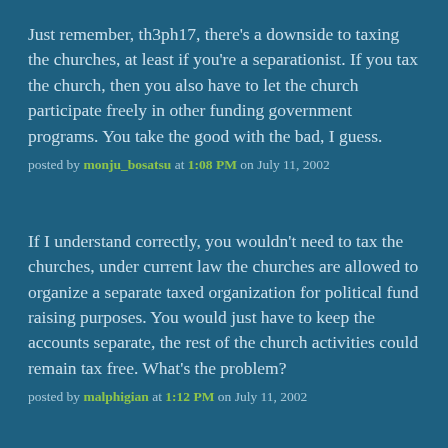Just remember, th3ph17, there's a downside to taxing the churches, at least if you're a separationist. If you tax the church, then you also have to let the church participate freely in other funding government programs. You take the good with the bad, I guess.
posted by monju_bosatsu at 1:08 PM on July 11, 2002
If I understand correctly, you wouldn't need to tax the churches, under current law the churches are allowed to organize a separate taxed organization for political fund raising purposes. You would just have to keep the accounts separate, the rest of the church activities could remain tax free. What's the problem?
posted by malphigian at 1:12 PM on July 11, 2002